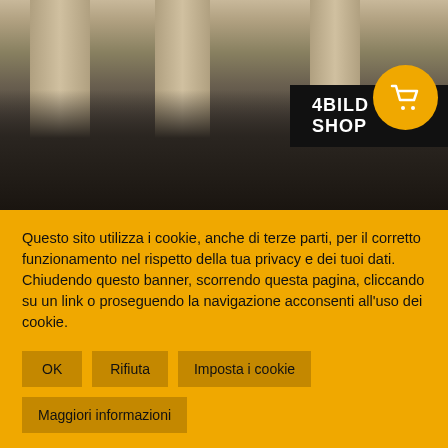[Figure (photo): Black and white photograph of a crowd of people standing in front of large stone columns, viewed from a low angle. People include tourists/visitors looking around.]
4BILD SHOP
Questo sito utilizza i cookie, anche di terze parti, per il corretto funzionamento nel rispetto della tua privacy e dei tuoi dati. Chiudendo questo banner, scorrendo questa pagina, cliccando su un link o proseguendo la navigazione acconsenti all'uso dei cookie.
OK
Rifiuta
Imposta i cookie
Maggiori informazioni